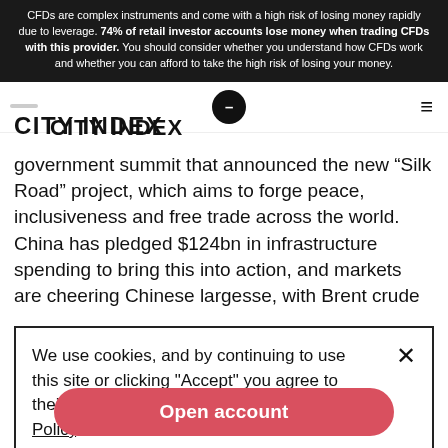CFDs are complex instruments and come with a high risk of losing money rapidly due to leverage. 74% of retail investor accounts lose money when trading CFDs with this provider. You should consider whether you understand how CFDs work and whether you can afford to take the high risk of losing your money.
CITY INDEX
government summit that announced the new “Silk Road” project, which aims to forge peace, inclusiveness and free trade across the world. China has pledged $124bn in infrastructure spending to bring this into action, and markets are cheering Chinese largesse, with Brent crude
We use cookies, and by continuing to use this site or clicking "Accept" you agree to their use. Full details are in our Cookie Policy.
comm... other... ich is up 2%, Nymex heating oil up 2.18%, and ICE gasoil up